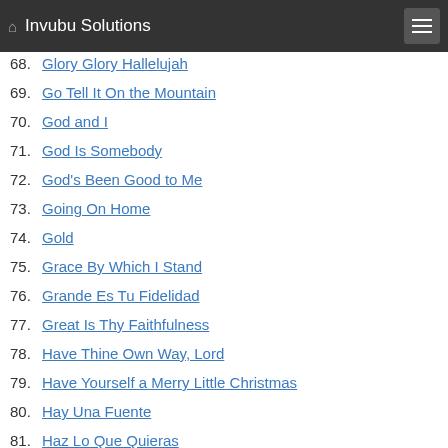Invubu Solutions
68. Glory Glory Hallelujah
69. Go Tell It On the Mountain
70. God and I
71. God Is Somebody
72. God's Been Good to Me
73. Going On Home
74. Gold
75. Grace By Which I Stand
76. Grande Es Tu Fidelidad
77. Great Is Thy Faithfulness
78. Have Thine Own Way, Lord
79. Have Yourself a Merry Little Christmas
80. Hay Una Fuente
81. Haz Lo Que Quieras
82. Healing Oil
83. Higher
84. His Eye Is on the Sparrow
85. Holy Place